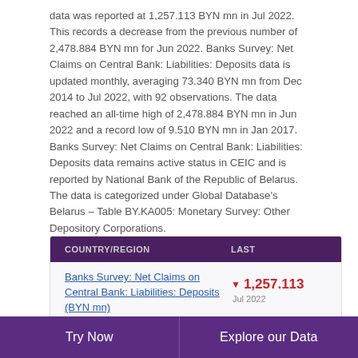data was reported at 1,257.113 BYN mn in Jul 2022. This records a decrease from the previous number of 2,478.884 BYN mn for Jun 2022. Banks Survey: Net Claims on Central Bank: Liabilities: Deposits data is updated monthly, averaging 73.340 BYN mn from Dec 2014 to Jul 2022, with 92 observations. The data reached an all-time high of 2,478.884 BYN mn in Jun 2022 and a record low of 9.510 BYN mn in Jan 2017. Banks Survey: Net Claims on Central Bank: Liabilities: Deposits data remains active status in CEIC and is reported by National Bank of the Republic of Belarus. The data is categorized under Global Database's Belarus – Table BY.KA005: Monetary Survey: Other Depository Corporations.
| COUNTRY/REGION | LAST |
| --- | --- |
| Banks Survey: Net Claims on Central Bank: Liabilities: Deposits (BYN mn) | ▼ 1,257.113 Jul 2022 |
Try Now    Explore our Data